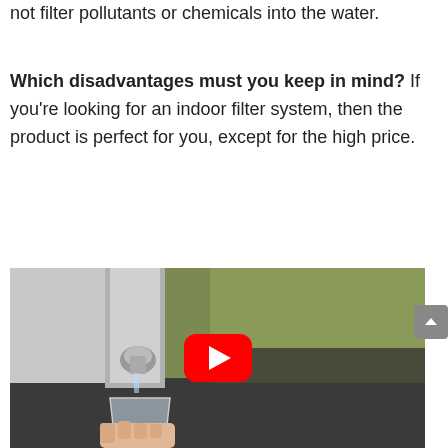not filter pollutants or chemicals into the water.
Which disadvantages must you keep in mind? If you're looking for an indoor filter system, then the product is perfect for you, except for the high price.
[Figure (screenshot): A YouTube video thumbnail showing a water filter faucet dispensing water into a clear glass, with a red YouTube play button centered on the image. Background shows a kitchen counter with green/olive colored walls.]